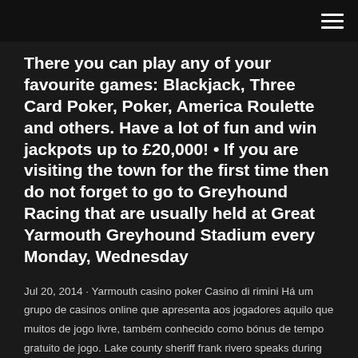[hamburger menu icon]
There you can play any of your favourite games: Blackjack, Three Card Poker, Poker, America Roulette and others. Have a lot of fun and win jackpots up to £20,000! • If you are visiting the town for the first time then do not forget to go to Greyhound Racing that are usually held at Great Yarmouth Greyhound Stadium every Monday, Wednesday
Jul 20, 2014 · Yarmouth casino poker Casino di rimini Há um grupo de casinos online que apresenta aos jogadores aquilo que muitos de jogo livre, também conhecido como bónus de tempo gratuito de jogo. Lake county sheriff frank rivero speaks during his radio program the shimmering